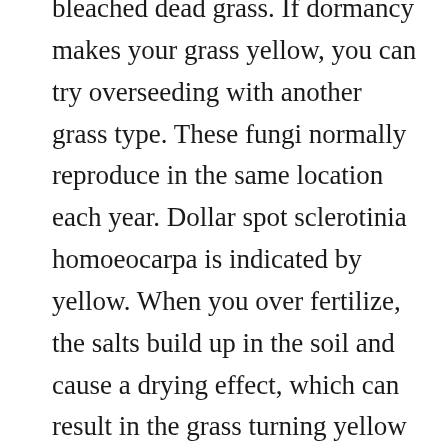bleached dead grass. If dormancy makes your grass yellow, you can try overseeding with another grass type. These fungi normally reproduce in the same location each year. Dollar spot sclerotinia homoeocarpa is indicated by yellow. When you over fertilize, the salts build up in the soil and cause a drying effect, which can result in the grass turning yellow or brown and. The disease is most prevalent during the late fall, winter and early spring when temperatures are cooler.
Turf masters typically does this on warmseason grasses like bermuda and zoysia